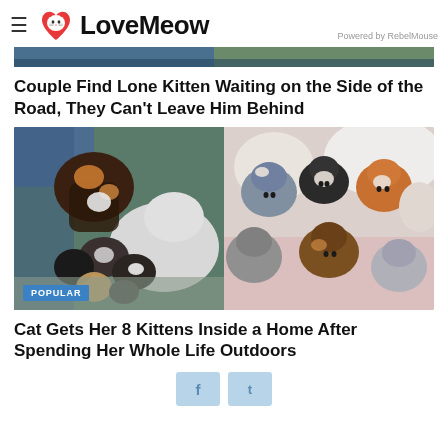LoveMeow — Powered by RebelMouse
[Figure (photo): Partial top image strip, cropped photo showing tops of cats/people]
Couple Find Lone Kitten Waiting on the Side of the Road, They Can't Leave Him Behind
[Figure (photo): Two-panel photo: left shows a calico/tortoiseshell mother cat nursing multiple kittens on a blue blanket with a white cat nearby; right shows a pile of 8-9 kittens of various colors (gray, orange, black, white) on a pink blanket. Badge reads POPULAR.]
Cat Gets Her 8 Kittens Inside a Home After Spending Her Whole Life Outdoors